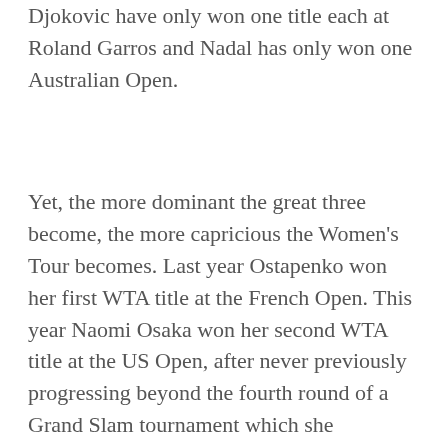Djokovic have only won one title each at Roland Garros and Nadal has only won one Australian Open.
Yet, the more dominant the great three become, the more capricious the Women's Tour becomes. Last year Ostapenko won her first WTA title at the French Open. This year Naomi Osaka won her second WTA title at the US Open, after never previously progressing beyond the fourth round of a Grand Slam tournament which she reached at this year's Australian Open.
The last year that a female player won two or more Grand Slam titles was Angelique Kerber in 2016 and the last year that a female player won